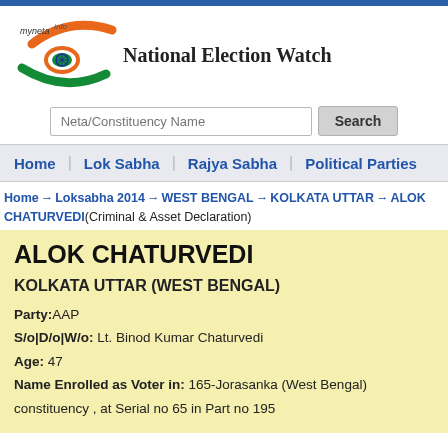[Figure (logo): myneta.info National Election Watch logo with Indian flag tricolor swoosh and Ashoka Chakra eye]
Neta/Constituency Name (search input placeholder)
Search
Home | Lok Sabha | Rajya Sabha | Political Parties
Home → Loksabha 2014 → WEST BENGAL → KOLKATA UTTAR → ALOK CHATURVEDI(Criminal & Asset Declaration)
ALOK CHATURVEDI
KOLKATA UTTAR (WEST BENGAL)
Party:AAP
S/o|D/o|W/o: Lt. Binod Kumar Chaturvedi
Age: 47
Name Enrolled as Voter in: 165-Jorasanka (West Bengal) constituency , at Serial no 65 in Part no 195